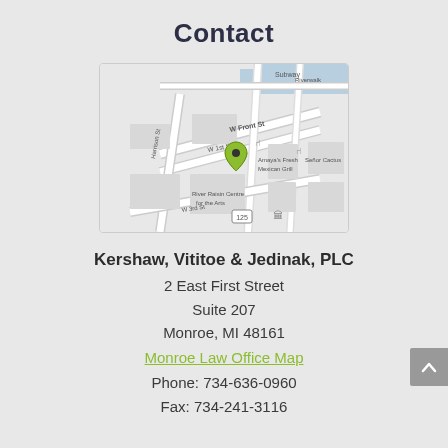Contact
[Figure (map): Street map showing the location of Kershaw, Vititoe & Jedinak, PLC at 2 East First Street in Monroe, MI. Map shows W Front St, W 1st St, Harrison St, W 3rd St, and nearby landmarks including Subway, Amaya's Fresh Mexican Grill, Señor Cactus, and River Raisin Centre for the Arts. A green map pin marks the office location.]
Kershaw, Vititoe & Jedinak, PLC
2 East First Street
Suite 207
Monroe, MI 48161
Monroe Law Office Map
Phone: 734-636-0960
Fax: 734-241-3116